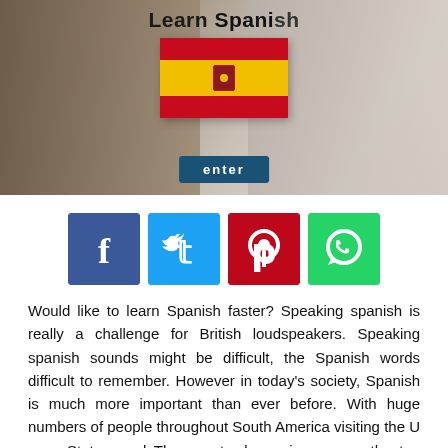[Figure (photo): Photo of hands writing, with a 'Learn Spanish' header and a Spanish flag image, plus an 'enter' button. Educational/language learning context.]
[Figure (infographic): Social media share buttons: Facebook (blue), Twitter (cyan), Pinterest (red), WhatsApp (green)]
Would like to learn Spanish faster? Speaking spanish is really a challenge for British loudspeakers. Speaking spanish sounds might be difficult, the Spanish words difficult to remember. However in today's society, Spanish is much more important than ever before. With huge numbers of people throughout South America visiting the U . s . States, and The country becoming among the top European economies, Spanish is helpful regardless of kind of business you possess.
Learning speaking spanish doesn't have to become difficult.